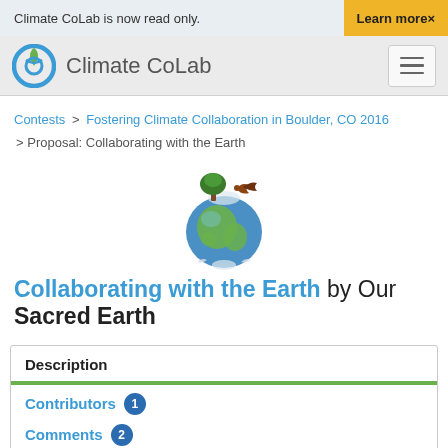Climate CoLab is now read only.   Learn more×
Climate CoLab
Contests > Fostering Climate Collaboration in Boulder, CO 2016 > Proposal: Collaborating with the Earth
[Figure (illustration): Globe illustration with tree and bird on top]
Collaborating with the Earth by Our Sacred Earth
Description
Contributors 1
Comments 2